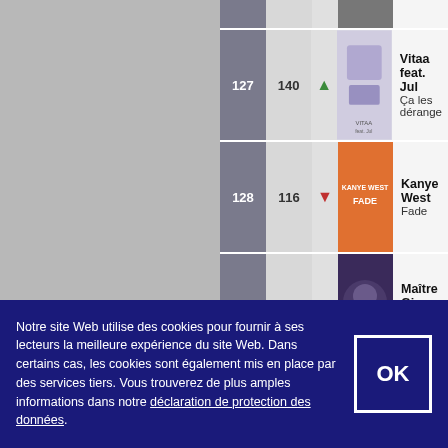| Rank | Plays | Trend | Art | Artist | Song |
| --- | --- | --- | --- | --- | --- |
| 127 | 140 | ↑ |  | Vitaa feat. Jul | Ça les dérange |
| 128 | 116 | ↓ |  | Kanye West | Fade |
| 129 | 102 | ↓ |  | Maître Gims feat. J | Boucan |
| 130 | 97 | ↓ |  | The XX | On Hold |
| 131 | 114 | ↓ |  | Adele | Send My Love (To Y… |
| 132 | 105 | ↓ |  | Sia | Chandelier |
| 133 |  |  |  | Kaleo | Way Down We G… |
Notre site Web utilise des cookies pour fournir à ses lecteurs la meilleure expérience du site Web. Dans certains cas, les cookies sont également mis en place par des services tiers. Vous trouverez de plus amples informations dans notre déclaration de protection des données.